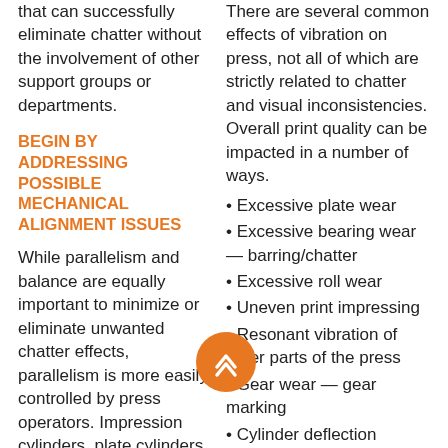that can successfully eliminate chatter without the involvement of other support groups or departments.
BEGIN BY ADDRESSING POSSIBLE MECHANICAL ALIGNMENT ISSUES
While parallelism and balance are equally important to minimize or eliminate unwanted chatter effects, parallelism is more easily controlled by press operators. Impression cylinders, plate cylinders, anilox rolls, drive rolls, and idler rolls must be aligned
There are several common effects of vibration on press, not all of which are strictly related to chatter and visual inconsistencies. Overall print quality can be impacted in a number of ways.
• Excessive plate wear
• Excessive bearing wear — barring/chatter
• Excessive roll wear
• Uneven print impressing
• Resonant vibration of other parts of the press
• Gear wear — gear marking
• Cylinder deflection